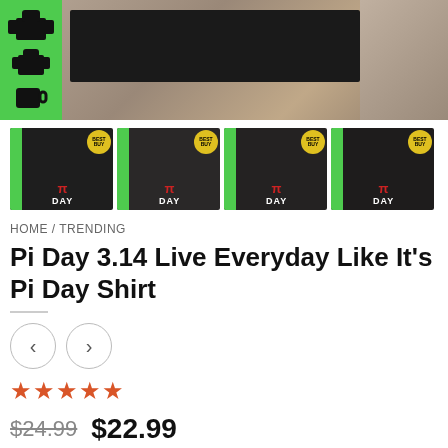[Figure (photo): Product banner showing black shirt on stone background with green strip on left containing product icons]
[Figure (photo): Four product thumbnails showing Pi Day shirt in different styles, each with BEST BUY badge]
HOME / TRENDING
Pi Day 3.14 Live Everyday Like It's Pi Day Shirt
[Figure (other): Left and right navigation arrow buttons]
[Figure (other): Five star rating in orange/red]
$24.99  $22.99